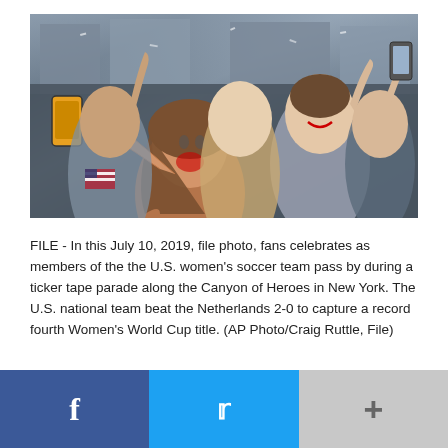[Figure (photo): Crowd of excited fans cheering and taking selfies during a ticker tape parade along the Canyon of Heroes in New York, July 10, 2019, celebrating the U.S. women's soccer team's Women's World Cup victory.]
FILE - In this July 10, 2019, file photo, fans celebrates as members of the the U.S. women's soccer team pass by during a ticker tape parade along the Canyon of Heroes in New York. The U.S. national team beat the Netherlands 2-0 to capture a record fourth Women's World Cup title. (AP Photo/Craig Ruttle, File)